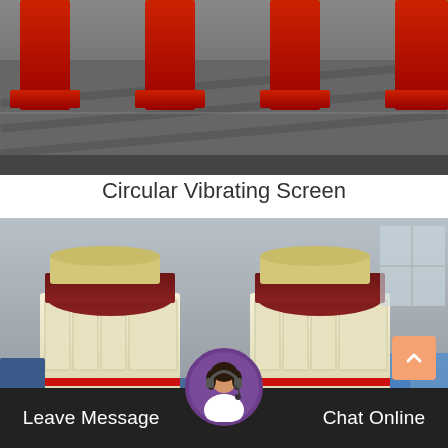[Figure (photo): Industrial circular vibrating screen machinery with red and black metal components against a light background, viewed from front-left angle.]
Circular Vibrating Screen
[Figure (photo): Two large cream/yellow-colored impact crushers with red trim stripes, blue packaging material at base, dark red/maroon tops visible, inside an industrial warehouse.]
Leave Message  Chat Online